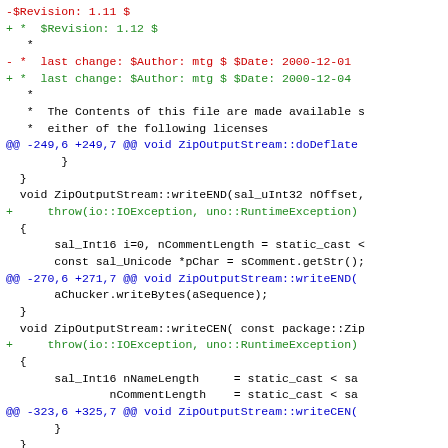code diff snippet showing ZipOutputStream changes
[Figure (screenshot): Source code diff showing changes to ZipOutputStream class methods including writeEND, writeCEN, and writeEXT, with added throw declarations for io::IOException and uno::RuntimeException]